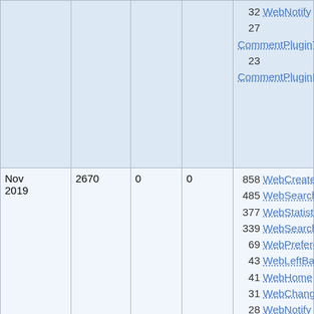| Date | Views | Saves | Uploads | Top pages |
| --- | --- | --- | --- | --- |
|  |  |  |  | 32 WebNotify
27
CommentPluginTemplateEx
23
CommentPluginExampleCo |
| Nov 2019 | 2670 | 0 | 0 | 858 WebCreateNewTopic
485 WebSearch
377 WebStatistics
339 WebSearchAdvanced
69 WebPreferences
43 WebLeftBar
41 WebHome
31 WebChanges
28 WebNotify
22
CommentPluginTemplateEx
21 WebTopicList |
| Aug 2017 | 2547 | 0 | 0 | 811 WebStatistics
276 WebPreferences
194 WebCreateNewTopic
194 WebSearch
116 WebHome |